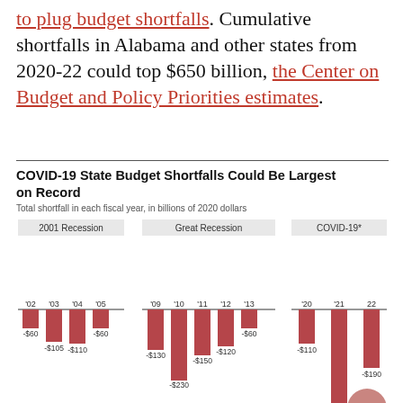to plug budget shortfalls. Cumulative shortfalls in Alabama and other states from 2020-22 could top $650 billion, the Center on Budget and Policy Priorities estimates.
[Figure (grouped-bar-chart): COVID-19 State Budget Shortfalls Could Be Largest on Record]